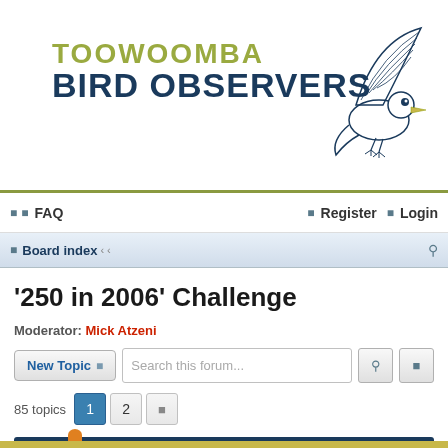[Figure (logo): Toowoomba Bird Observers logo with bird illustration and text]
FAQ   Register   Login
Board index
'250 in 2006' Challenge
Moderator: Mick Atzeni
New Topic   Search this forum...   85 topics  1  2
Announcements